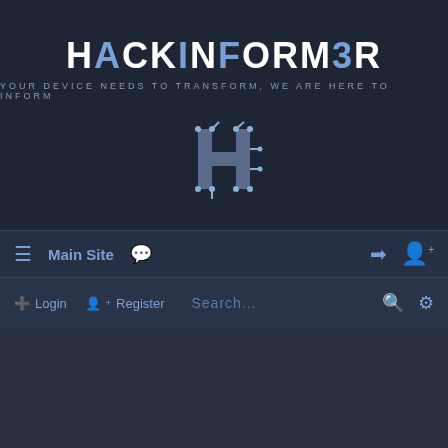[Figure (logo): HackInformer website logo with circuit board H graphic, title 'HACKINFORMER' and subtitle 'YOUR DEVICE NEEDS TO TRANSFORM, WE ARE HERE TO INFORM']
≡  Main Site  💬                                         ➔  👤+
⊕ Login   👤+ Register                    Search...              🔍  ⚙